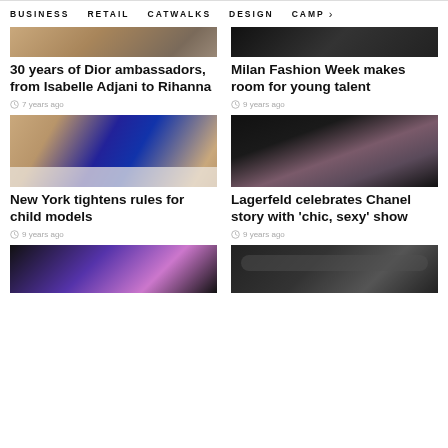BUSINESS   RETAIL   CATWALKS   DESIGN   CAMP >
[Figure (photo): Top-left article image - partial view of person]
30 years of Dior ambassadors, from Isabelle Adjani to Rihanna
7 years ago
[Figure (photo): Top-right article image - dark background fashion photo]
Milan Fashion Week makes room for young talent
9 years ago
[Figure (photo): Shoes on a white surface - blue and black heels]
New York tightens rules for child models
9 years ago
[Figure (photo): Female model in tweed jacket against dark background]
Lagerfeld celebrates Chanel story with 'chic, sexy' show
9 years ago
[Figure (photo): Bottom-left partial image - blue/purple tones]
[Figure (photo): Bottom-right partial image - black and white close-up eyes]